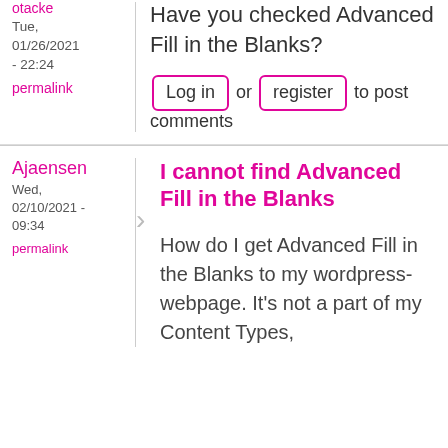otacke
Tue, 01/26/2021 - 22:24
permalink
Have you checked Advanced Fill in the Blanks?
Log in or register to post comments
Ajaensen
Wed, 02/10/2021 - 09:34
permalink
I cannot find Advanced Fill in the Blanks
How do I get Advanced Fill in the Blanks to my wordpress-webpage. It's not a part of my Content Types,